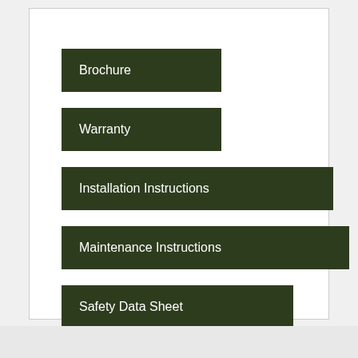Brochure
Warranty
Installation Instructions
Maintenance Instructions
Safety Data Sheet